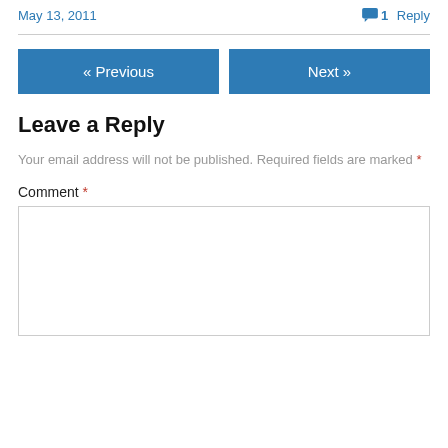May 13, 2011
1 Reply
« Previous
Next »
Leave a Reply
Your email address will not be published. Required fields are marked *
Comment *